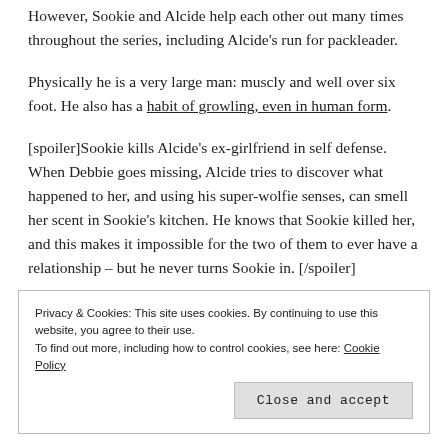However, Sookie and Alcide help each other out many times throughout the series, including Alcide's run for packleader.
Physically he is a very large man: muscly and well over six foot. He also has a habit of growling, even in human form.
[spoiler]Sookie kills Alcide's ex-girlfriend in self defense. When Debbie goes missing, Alcide tries to discover what happened to her, and using his super-wolfie senses, can smell her scent in Sookie's kitchen. He knows that Sookie killed her, and this makes it impossible for the two of them to ever have a relationship – but he never turns Sookie in. [/spoiler]
Privacy & Cookies: This site uses cookies. By continuing to use this website, you agree to their use. To find out more, including how to control cookies, see here: Cookie Policy
Close and accept